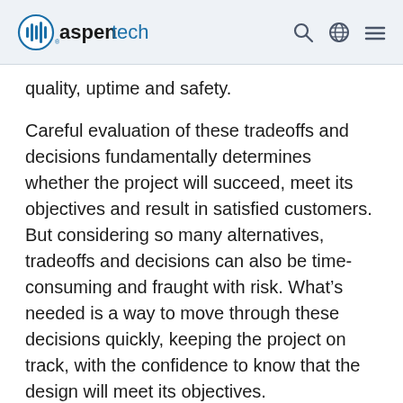aspentech
quality, uptime and safety.
Careful evaluation of these tradeoffs and decisions fundamentally determines whether the project will succeed, meet its objectives and result in satisfied customers. But considering so many alternatives, tradeoffs and decisions can also be time-consuming and fraught with risk. What’s needed is a way to move through these decisions quickly, keeping the project on track, with the confidence to know that the design will meet its objectives.